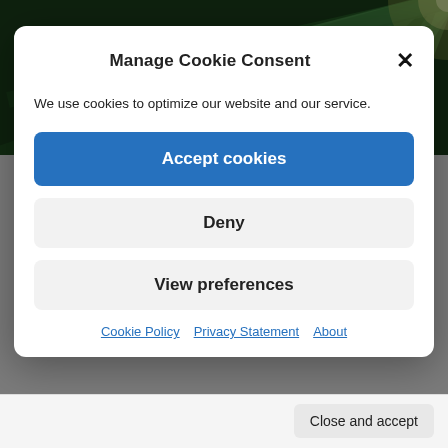[Figure (screenshot): Green radial burst background banner image with partial text '2 Live Seminars: Multitenant' visible at the bottom]
Manage Cookie Consent
We use cookies to optimize our website and our service.
Accept cookies
Deny
View preferences
Cookie Policy   Privacy Statement   About
Close and accept